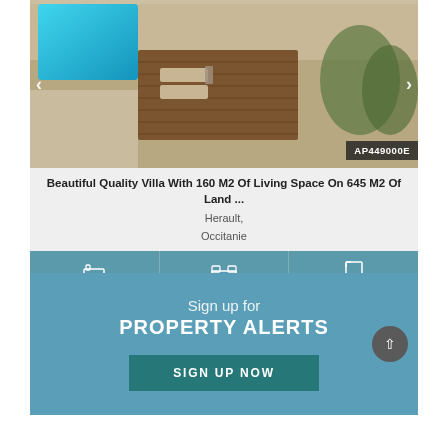[Figure (photo): Aerial/overhead photo of a villa with a swimming pool, wooden deck with sun loungers, and garden area. Navigation arrows on left and right.]
AP449000E
Beautiful Quality Villa With 160 M2 Of Living Space On 645 M2 Of Land ...
Herault,
Occitanie
2
4
N/A
Sign up for
PROPERTY ALERTS
SIGN UP NOW